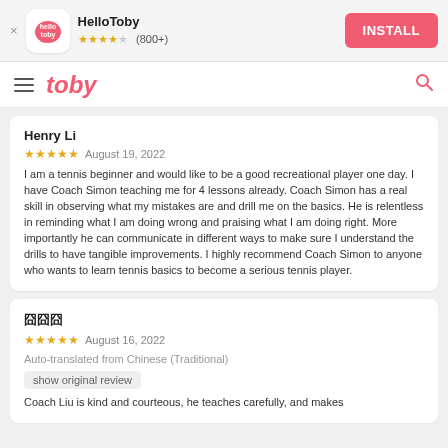[Figure (screenshot): App install banner for HelloToby with logo icon, star rating (800+), and INSTALL button]
[Figure (screenshot): Toby app navigation bar with hamburger menu, toby logo, and search icon]
Henry Li
★★★★★   August 19, 2022
I am a tennis beginner and would like to be a good recreational player one day. I have Coach Simon teaching me for 4 lessons already. Coach Simon has a real skill in observing what my mistakes are and drill me on the basics. He is relentless in reminding what I am doing wrong and praising what I am doing right. More importantly he can communicate in different ways to make sure I understand the drills to have tangible improvements. I highly recommend Coach Simon to anyone who wants to learn tennis basics to become a serious tennis player.
囧囧囧
★★★★★   August 16, 2022
Auto-translated from Chinese (Traditional)
show original review
Coach Liu is kind and courteous, he teaches carefully, and makes